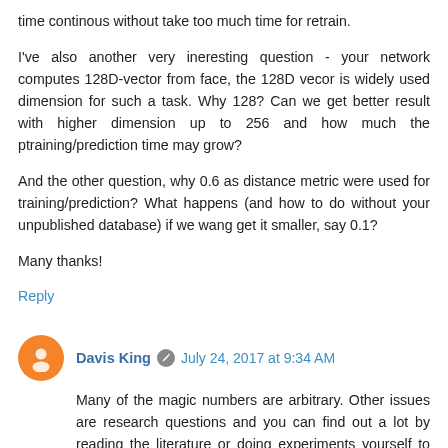time continous without take too much time for retrain.
I've also another very ineresting question - your network computes 128D-vector from face, the 128D vecor is widely used dimension for such a task. Why 128? Can we get better result with higher dimension up to 256 and how much the ptraining/prediction time may grow?
And the other question, why 0.6 as distance metric were used for training/prediction? What happens (and how to do without your unpublished database) if we wang get it smaller, say 0.1?
Many thanks!
Reply
Davis King  July 24, 2017 at 9:34 AM
Many of the magic numbers are arbitrary. Other issues are research questions and you can find out a lot by reading the literature or doing experiments yourself to see what happens.